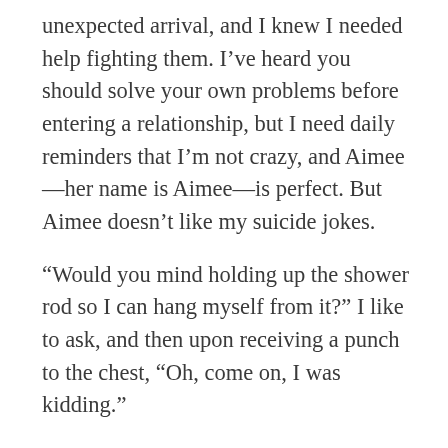unexpected arrival, and I knew I needed help fighting them. I’ve heard you should solve your own problems before entering a relationship, but I need daily reminders that I’m not crazy, and Aimee—her name is Aimee—is perfect. But Aimee doesn’t like my suicide jokes.

“Would you mind holding up the shower rod so I can hang myself from it?” I like to ask, and then upon receiving a punch to the chest, “Oh, come on, I was kidding.”